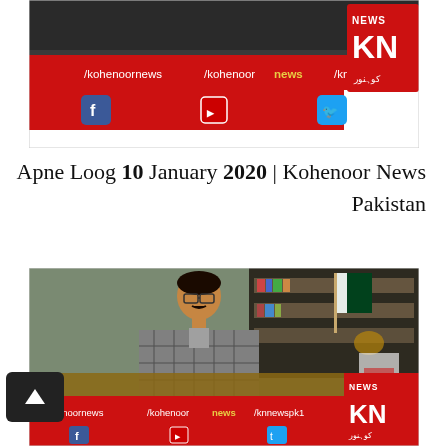[Figure (screenshot): Kohenoor News TV screenshot showing news channel lower-third bar with /kohenoornews /kohenoor news /knnewspk1 and Facebook, YouTube, Twitter icons, KN News logo, www.kohenoor.tv]
Apne Loog 10 January 2020 | Kohenoor News Pakistan
[Figure (screenshot): Kohenoor News TV screenshot showing a man in plaid jacket sitting at a desk with bookshelves and Pakistan flag in background, with lower-third bar /kohenoornews /kohenoor news /knnewspk1, Facebook, YouTube, Twitter icons and KN News logo]